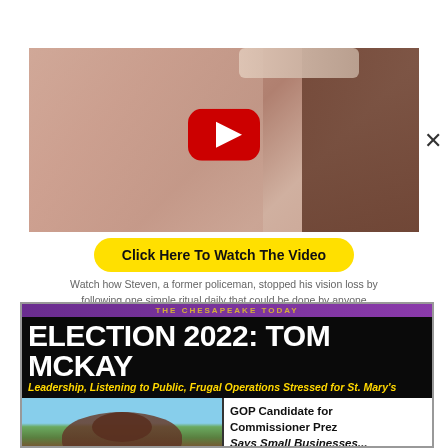[Figure (screenshot): Video thumbnail showing a close-up of a woman's face with a YouTube play button overlay. An X close button appears to the right.]
Click Here To Watch The Video
Watch how Steven, a former policeman, stopped his vision loss by following one simple ritual daily that could be done by anyone
[Figure (screenshot): Newspaper front page screenshot: THE CHESAPEAKE TODAY. Headline: ELECTION 2022: TOM MCKAY. Subheadline: Leadership, Listening to Public, Frugal Operations Stressed for St. Mary's. Lower section shows a photo and sidebar text: GOP Candidate for Commissioner Prez Says Small Businesses...]